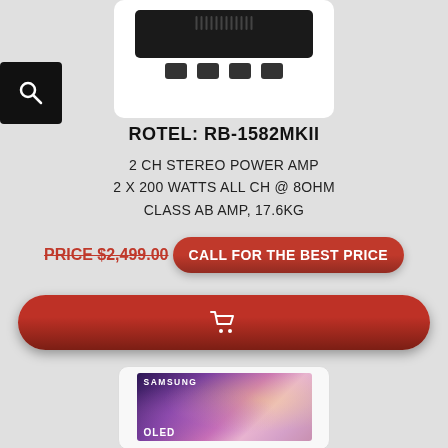[Figure (photo): Rotel RB-1582MKII stereo power amplifier product photo, black unit with connectors on bottom, white background, rounded card]
ROTEL: RB-1582MKII
2 CH STEREO POWER AMP
2 X 200 WATTS ALL CH @ 8OHM
CLASS AB AMP, 17.6KG
PRICE $2,499.00 CALL FOR THE BEST PRICE
[Figure (photo): Samsung OLED TV product photo showing abstract colorful display, white card background]